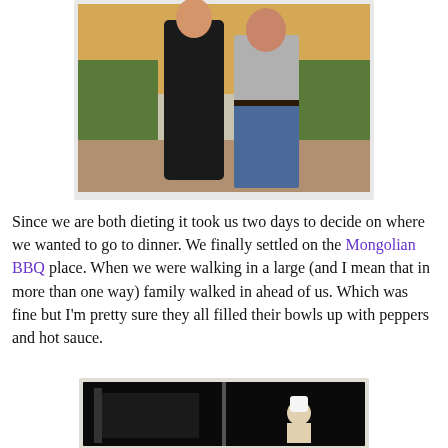[Figure (photo): Two people standing outdoors together, one wearing a black dress and one wearing a grey shirt and blue jeans, with green bushes in the background.]
Since we are both dieting it took us two days to decide on where we wanted to go to dinner. We finally settled on the Mongolian BBQ place. When we were walking in a large (and I mean that in more than one way) family walked in ahead of us. Which was fine but I'm pretty sure they all filled their bowls up with peppers and hot sauce.
[Figure (photo): Dark, low-light photo of what appears to be a restaurant interior with cooking surfaces and a person in a white chef's hat visible.]